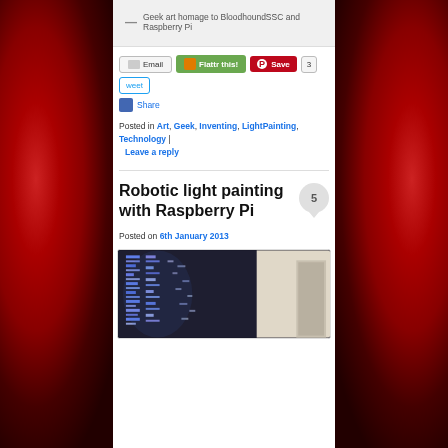— Geek art homage to BloodhoundSSC and Raspberry Pi
[Figure (screenshot): Social sharing buttons: Email, Flattr this!, Pinterest Save, Tweet with count 3, and Share]
Posted in Art, Geek, Inventing, LightPainting, Technology | Leave a reply
Robotic light painting with Raspberry Pi
Posted on 6th January 2013
[Figure (photo): Light painting photo showing blue LED light patterns on a wall in a dark room, creating a barcode-like pattern]